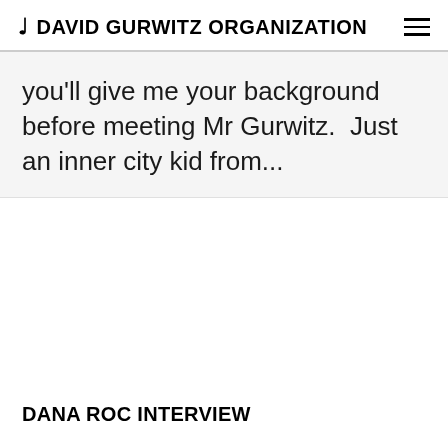♩ DAVID GURWITZ ORGANIZATION
you'll give me your background before meeting Mr Gurwitz.  Just an inner city kid from...
DANA ROC INTERVIEW